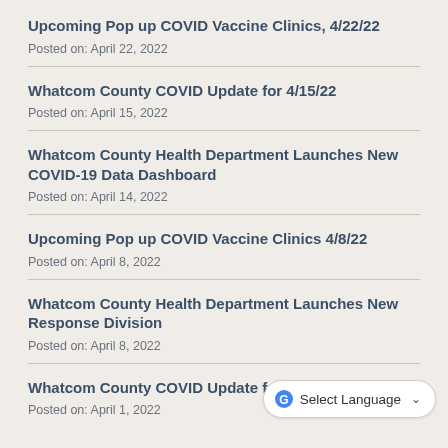Upcoming Pop up COVID Vaccine Clinics, 4/22/22
Posted on: April 22, 2022
Whatcom County COVID Update for 4/15/22
Posted on: April 15, 2022
Whatcom County Health Department Launches New COVID-19 Data Dashboard
Posted on: April 14, 2022
Upcoming Pop up COVID Vaccine Clinics 4/8/22
Posted on: April 8, 2022
Whatcom County Health Department Launches New Response Division
Posted on: April 8, 2022
Whatcom County COVID Update for
Posted on: April 1, 2022